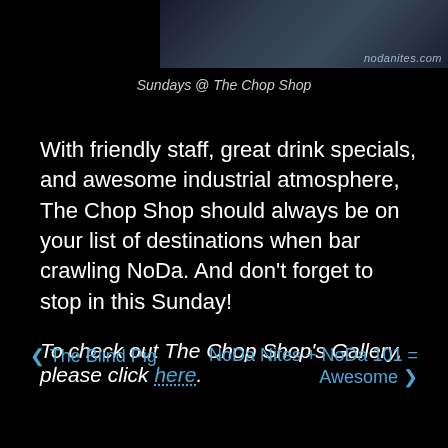[Figure (photo): Partial photo strip showing people in a dark/industrial venue, with nodanites.com watermark in the top right corner]
Sundays @ The Chop Shop
With friendly staff, great drink specials, and awesome industrial atmosphere, The Chop Shop should always be on your list of destinations when bar crawling NoDa. And don't forget to stop in this Sunday!
To check out The Chop Shop's Gallery, please click here.
❮ The Blind Pig
NoDa Nites + NoDa 101 = Awesome ❯